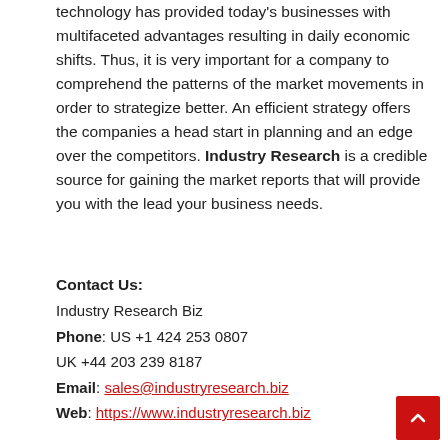technology has provided today's businesses with multifaceted advantages resulting in daily economic shifts. Thus, it is very important for a company to comprehend the patterns of the market movements in order to strategize better. An efficient strategy offers the companies a head start in planning and an edge over the competitors. Industry Research is a credible source for gaining the market reports that will provide you with the lead your business needs.
Contact Us:
Industry Research Biz
Phone: US +1 424 253 0807
UK +44 203 239 8187
Email: sales@industryresearch.biz
Web: https://www.industryresearch.biz